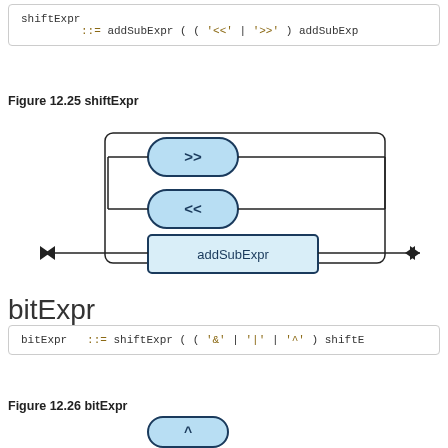[Figure (screenshot): Code box showing: shiftExpr ::= addSubExpr ( ( '<<' | '>>' ) addSubExpr]
Figure 12.25 shiftExpr
[Figure (flowchart): Railroad diagram for shiftExpr showing >> and << operator boxes looping back, with addSubExpr box between entry and exit arrows]
bitExpr
[Figure (screenshot): Code box showing: bitExpr ::= shiftExpr ( ( '&' | '|' | '^' ) shiftE]
Figure 12.26 bitExpr
[Figure (flowchart): Partial railroad diagram for bitExpr (cut off at bottom)]